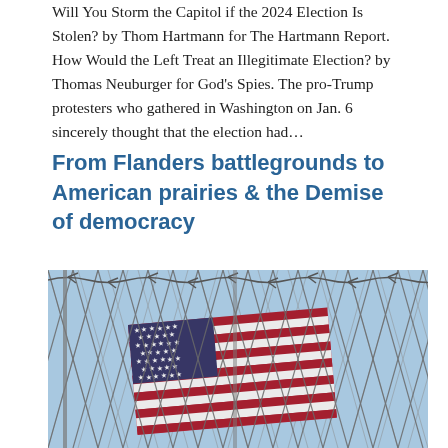Will You Storm the Capitol if the 2024 Election Is Stolen? by Thom Hartmann for The Hartmann Report.  How Would the Left Treat an Illegitimate Election? by Thomas Neuburger for God's Spies. The pro-Trump protesters who gathered in Washington on Jan. 6 sincerely thought that the election had…
From Flanders battlegrounds to American prairies & the Demise of democracy
[Figure (photo): A photograph of an American flag caught in a chain-link fence with barbed wire, viewed against a blue sky. The flag's red, white, and blue stripes and stars are visible through the metal fence.]